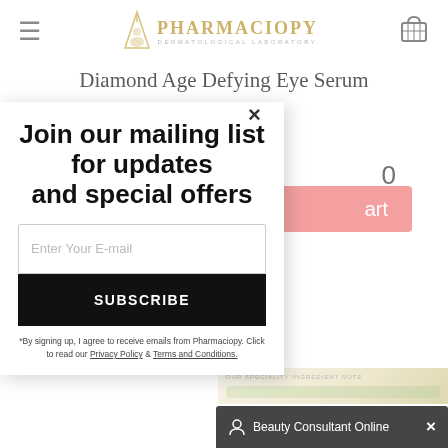PHARMACIOPY DERMATOLOGICAL LABORATORY
Diamond Age Defying Eye Serum
× (close button)
Join our mailing list for updates and special offers
Enter Your E-mail
SUBSCRIBE
*By signing up, I agree to receive emails from Pharmaciopy. Click to read our Privacy Policy & Terms and Conditions.
Beauty Consultant Online